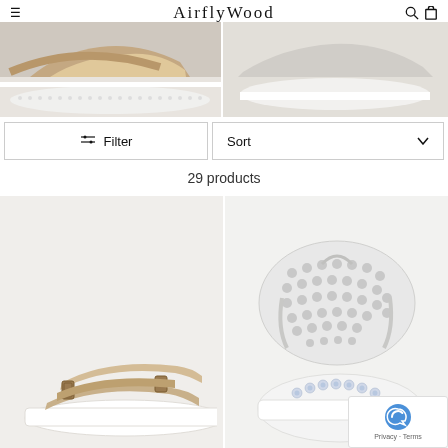AirflyWood
[Figure (photo): Two cropped close-up photos of shoes/sandals sole areas: left shows beige/tan sandal with white sole, right shows light grey sandal with smooth white sole]
Filter | Sort
29 products
[Figure (photo): Left product: tan/beige two-strap slide sandal with white platform sole on light background. Right product: white flip-flop style sandal with decorative rhinestone/crystal embellishments and patterned rubber sole shown from above and below.]
[Figure (logo): reCAPTCHA badge with Privacy and Terms links]